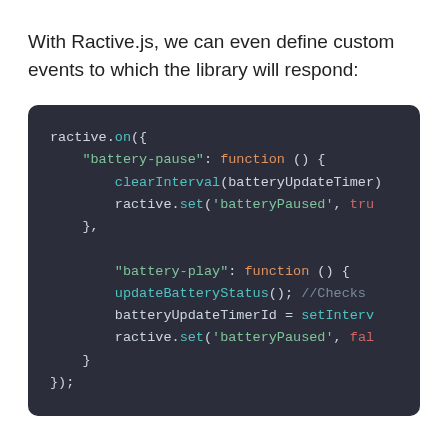With Ractive.js, we can even define custom events to which the library will respond:
[Figure (screenshot): Code block on dark background showing ractive.on({ event handler with 'battery-pause' and 'battery-play' events using clearInterval, ractive.set, updateBatteryStatus, and batteryUpdateTimerId = setInterval calls]